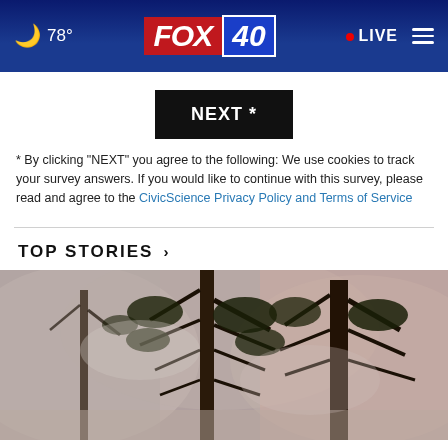🌙 78° | FOX 40 | LIVE
NEXT *
* By clicking "NEXT" you agree to the following: We use cookies to track your survey answers. If you would like to continue with this survey, please read and agree to the CivicScience Privacy Policy and Terms of Service
TOP STORIES ›
[Figure (photo): Smoky forest scene with pine trees shrouded in wildfire smoke, hazy pinkish sky visible in the background]